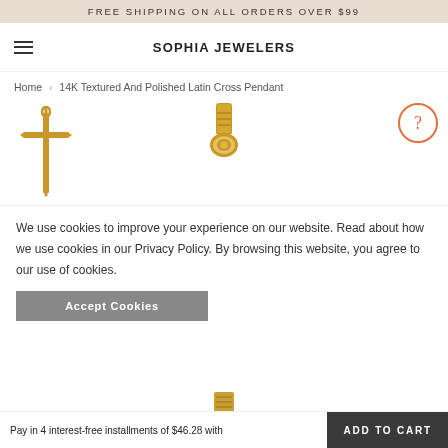FREE SHIPPING ON ALL ORDERS OVER $99
SOPHIA JEWELERS
Home > 14K Textured And Polished Latin Cross Pendant
[Figure (photo): Gold Latin cross pendant product photo on white background]
[Figure (photo): Gold pendant bail/clasp close-up product photo]
[Figure (other): Question mark circle icon (orange outline)]
We use cookies to improve your experience on our website. Read about how we use cookies in our Privacy Policy. By browsing this website, you agree to our use of cookies.
Accept Cookies
[Figure (photo): Gold textured pendant bottom portion visible]
Pay in 4 interest-free installments of $46.28 with
ADD TO CART